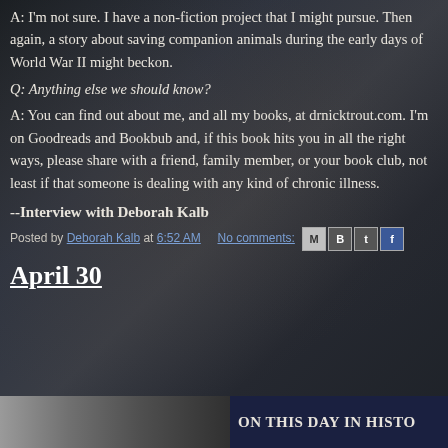A: I'm not sure. I have a non-fiction project that I might pursue. Then again, a story about saving companion animals during the early days of World War II might beckon.
Q: Anything else we should know?
A: You can find out about me, and all my books, at drnicktrout.com. I'm on Goodreads and Bookbub and, if this book hits you in all the right ways, please share with a friend, family member, or your book club, not least if that someone is dealing with any kind of chronic illness.
--Interview with Deborah Kalb
Posted by Deborah Kalb at 6:52 AM    No comments:
April 30
ON THIS DAY IN HISTO